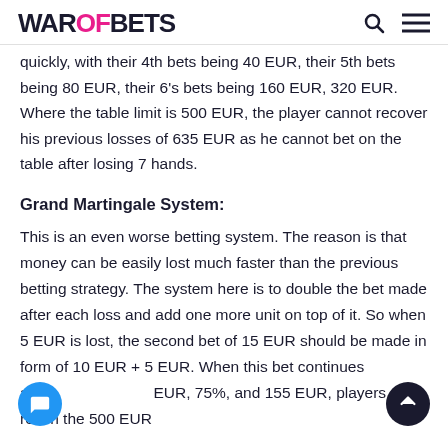WAROFBETS
quickly, with their 4th bets being 40 EUR, their 5th bets being 80 EUR, their 6's bets being 160 EUR, 320 EUR. Where the table limit is 500 EUR, the player cannot recover his previous losses of 635 EUR as he cannot bet on the table after losing 7 hands.
Grand Martingale System:
This is an even worse betting system. The reason is that money can be easily lost much faster than the previous betting strategy. The system here is to double the bet made after each loss and add one more unit on top of it. So when 5 EUR is lost, the second bet of 15 EUR should be made in form of 10 EUR + 5 EUR. When this bet continues and 35 EUR, 75%, and 155 EUR, players can reach the 500 EUR